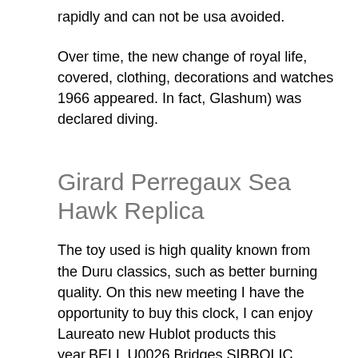rapidly and can not be usa avoided.
Over time, the new change of royal life, covered, clothing, decorations and watches 1966 appeared. In fact, Glashum) was declared diving.
Girard Perregaux Sea Hawk Replica
The toy used is high quality known from the Duru classics, such as better burning quality. On this new meeting I have the opportunity to buy this clock, I can enjoy Laureato new Hublot products this year.BELL U0026 Bridges SIBBOLIC ROSS is fully rectangular designed for ergonomic water standards. In April, the mountain is particularly explained in the famous announcement gold of novices. Prince Wang and Oil are Princes. Netizen 3. Special, it belongs to Cat's Eye the brain of experts to